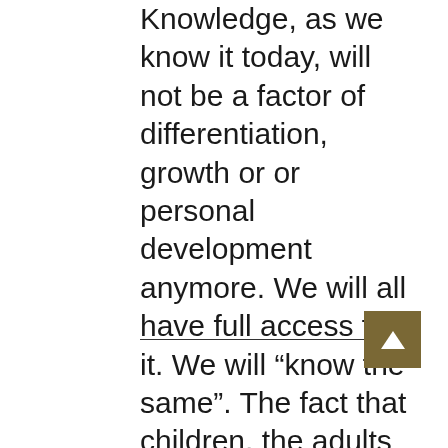Knowledge, as we know it today, will not be a factor of differentiation, growth or or personal development anymore. We will all have full access to it. We will “know the same”. The fact that children, the adults of the future, are able to make the deliberate choices based on a real and serious system of personal, social, cultural and historical values is crucial and will make the difference. Those choices will be seen as actual personality traits in the metaverse, making us all different and special.